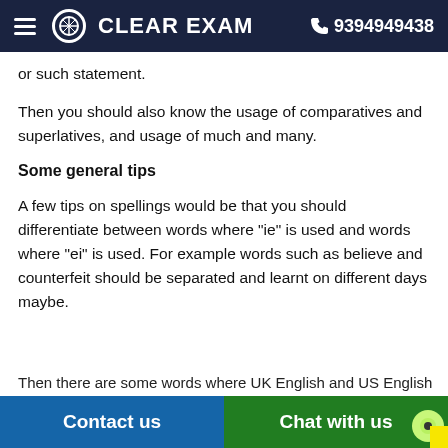CLEAR EXAM  9394949438
or such statement.
Then you should also know the usage of comparatives and superlatives, and usage of much and many.
Some general tips
A few tips on spellings would be that you should differentiate between words where "ie" is used and words where "ei" is used. For example words such as believe and counterfeit should be separated and learnt on different days maybe.
Then there are some words where UK English and US English
Contact us  Chat with us